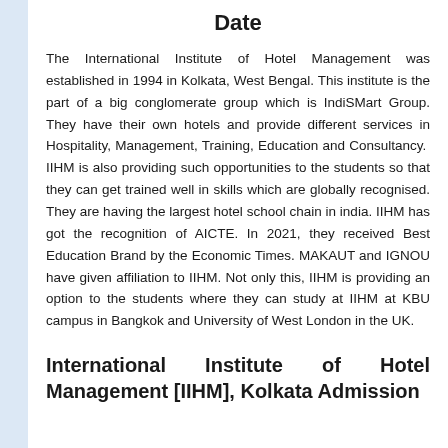Date
The International Institute of Hotel Management was established in 1994 in Kolkata, West Bengal. This institute is the part of a big conglomerate group which is IndiSMart Group. They have their own hotels and provide different services in Hospitality, Management, Training, Education and Consultancy.  IIHM is also providing such opportunities to the students so that they can get trained well in skills which are globally recognised. They are having the largest hotel school chain in india. IIHM has got the recognition of AICTE. In 2021, they received Best Education Brand by the Economic Times. MAKAUT and IGNOU have given affiliation to IIHM. Not only this, IIHM is providing an option to the students where they can study at IIHM at KBU campus in Bangkok and University of West London in the UK.
International Institute of Hotel Management [IIHM], Kolkata Admission